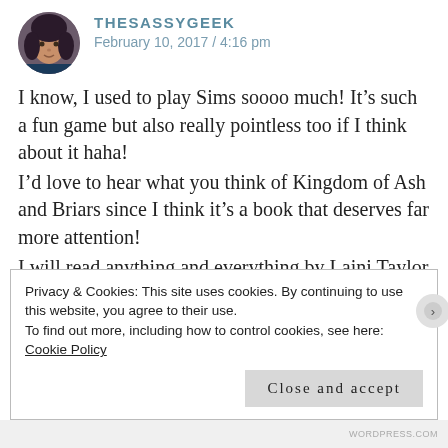[Figure (photo): Circular avatar photo of a woman with dark hair]
THESASSYGEEK
February 10, 2017 / 4:16 pm
I know, I used to play Sims soooo much! It’s such a fun game but also really pointless too if I think about it haha!
I’d love to hear what you think of Kingdom of Ash and Briars since I think it’s a book that deserves far more attention!
I will read anything and everything by Laini Taylor and I’m also super pumped for her new book!
😁
Privacy & Cookies: This site uses cookies. By continuing to use this website, you agree to their use.
To find out more, including how to control cookies, see here: Cookie Policy
Close and accept